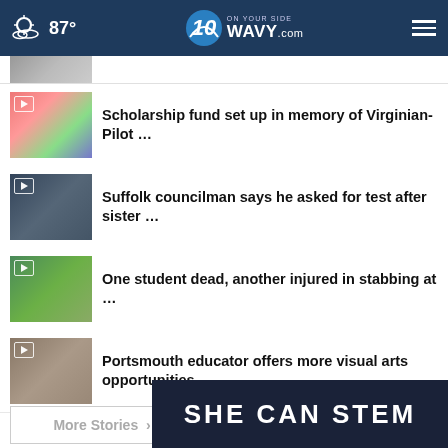87° WAVY.com On Your Side
Scholarship fund set up in memory of Virginian-Pilot …
Suffolk councilman says he asked for test after sister …
One student dead, another injured in stabbing at …
Portsmouth educator offers more visual arts opportunities …
More Stories ›
[Figure (screenshot): SHE CAN STEM advertisement banner]
SHE CAN STEM